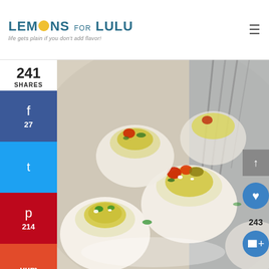LEMONS FOR LULU – life gets plain if you don't add flavor!
[Figure (photo): Close-up photo of guacamole deviled eggs topped with cherry tomatoes, pickled jalapeños, crumbled feta, and fresh herbs on a white plate]
241
SHARES
27
214
243